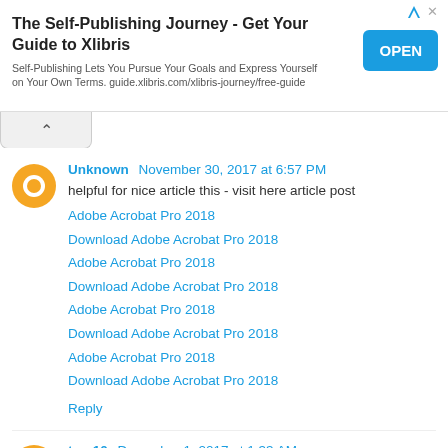[Figure (other): Advertisement banner for Xlibris self-publishing with OPEN button]
helpful for nice article this - visit here article post
Adobe Acrobat Pro 2018
Download Adobe Acrobat Pro 2018
Adobe Acrobat Pro 2018
Download Adobe Acrobat Pro 2018
Adobe Acrobat Pro 2018
Download Adobe Acrobat Pro 2018
Adobe Acrobat Pro 2018
Download Adobe Acrobat Pro 2018
Reply
Hi do check out this latest post with our New Blog Post and